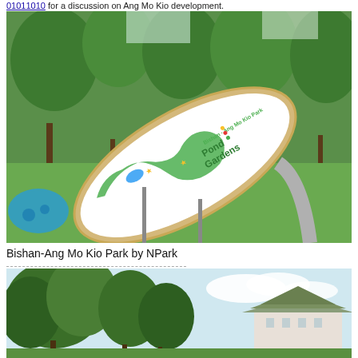01011010 for a discussion on Ang Mo Kio development.
[Figure (photo): Outdoor park sign at Bishan-Ang Mo Kio Park showing an oval map board with 'Pond Gardens' label, surrounded by trees and green lawn, with a blue water play area visible on the left.]
Bishan-Ang Mo Kio Park by NPark
[Figure (photo): Outdoor scene with dense trees in the foreground and a building with a tiered roof visible in the background under a bright sky.]